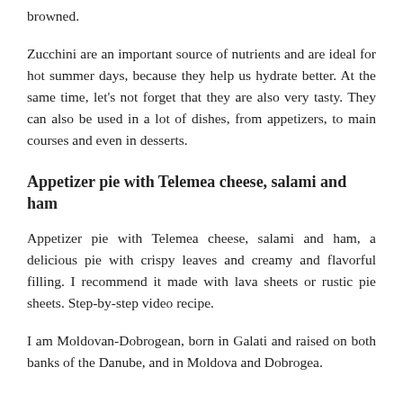browned.
Zucchini are an important source of nutrients and are ideal for hot summer days, because they help us hydrate better. At the same time, let's not forget that they are also very tasty. They can also be used in a lot of dishes, from appetizers, to main courses and even in desserts.
Appetizer pie with Telemea cheese, salami and ham
Appetizer pie with Telemea cheese, salami and ham, a delicious pie with crispy leaves and creamy and flavorful filling. I recommend it made with lava sheets or rustic pie sheets. Step-by-step video recipe.
I am Moldovan-Dobrogean, born in Galati and raised on both banks of the Danube, and in Moldova and Dobrogea.